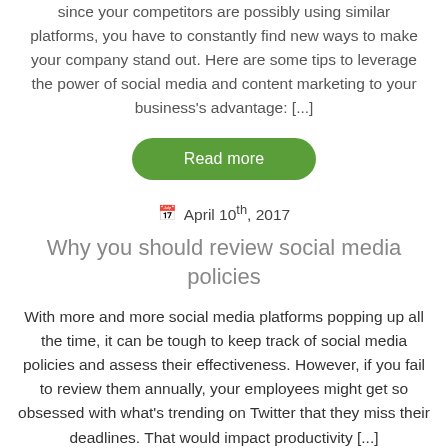since your competitors are possibly using similar platforms, you have to constantly find new ways to make your company stand out. Here are some tips to leverage the power of social media and content marketing to your business's advantage: [...]
Read more
April 10th, 2017
Why you should review social media policies
With more and more social media platforms popping up all the time, it can be tough to keep track of social media policies and assess their effectiveness. However, if you fail to review them annually, your employees might get so obsessed with what's trending on Twitter that they miss their deadlines. That would impact productivity [...]